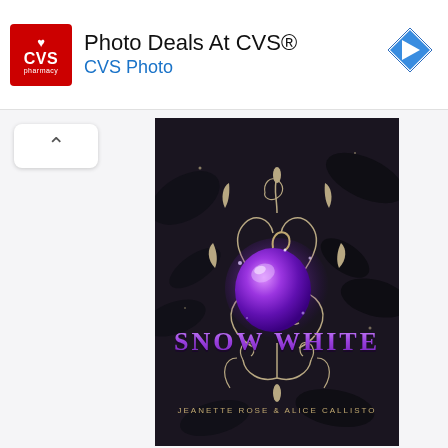[Figure (screenshot): CVS Pharmacy advertisement banner with red logo, text 'Photo Deals At CVS®' and 'CVS Photo', and a blue diamond navigation arrow icon on the right.]
▷
✕
[Figure (photo): Book cover of 'Snow White' by Jeanette Rose & Alice Callisto. Dark background with gothic swirling silver/gold filigree designs, dark leaves, and a glowing purple apple in the center. Title 'SNOW WHITE' in large stylized text in the middle. Author names at the bottom: 'JEANETTE ROSE & ALICE CALLISTO'.]